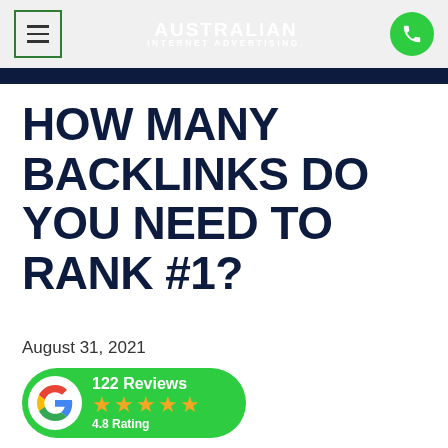Australian Internet Advertising — navigation header with menu button, logo, and phone button
HOW MANY BACKLINKS DO YOU NEED TO RANK #1?
August 31, 2021
[Figure (infographic): Google Reviews badge showing 122 Reviews, 4.8 Rating with star icons on a green pill-shaped background with Google G logo]